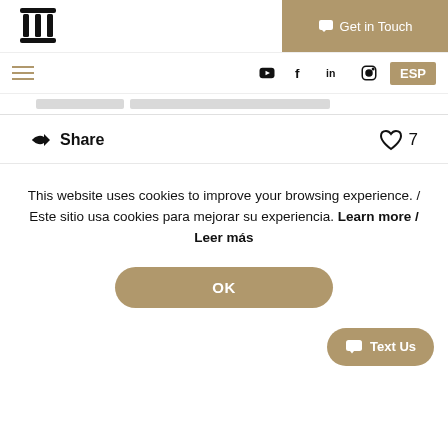[Figure (logo): Column/pillar icon logo in black]
Get in Touch
[Figure (infographic): Navigation bar with hamburger menu, YouTube, Facebook, LinkedIn, Instagram icons and ESP language toggle]
Share
7
This website uses cookies to improve your browsing experience. / Este sitio usa cookies para mejorar su experiencia. Learn more / Leer más
OK
Text Us